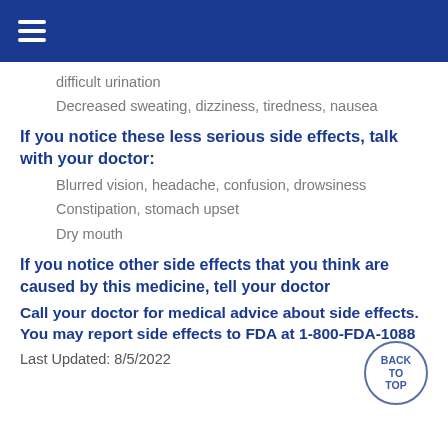≡
difficult urination
Decreased sweating, dizziness, tiredness, nausea
If you notice these less serious side effects, talk with your doctor:
Blurred vision, headache, confusion, drowsiness
Constipation, stomach upset
Dry mouth
If you notice other side effects that you think are caused by this medicine, tell your doctor
Call your doctor for medical advice about side effects. You may report side effects to FDA at 1-800-FDA-1088
Last Updated: 8/5/2022